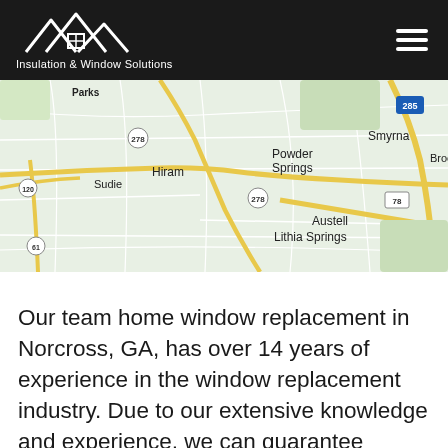Insulation & Window Solutions
[Figure (map): Street map showing Hiram, Powder Springs, Smyrna, Austell, Lithia Springs area near Atlanta, GA with highways 278, 285, 78, 120, 61]
Our team home window replacement in Norcross, GA, has over 14 years of experience in the window replacement industry. Due to our extensive knowledge and experience, we can guarantee results in terms of energy cost reduction in your home. What separates us from other companies is our honesty, skill, and feeling of achievement. When you